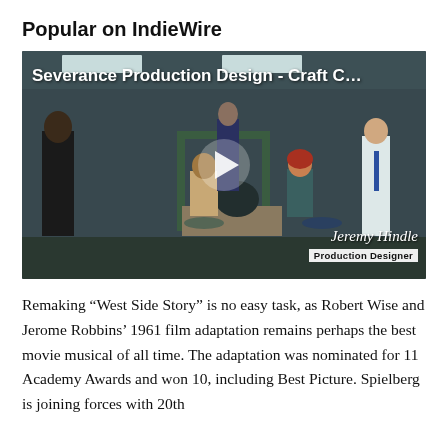Popular on IndieWire
[Figure (screenshot): Video thumbnail showing a scene from Severance with office workers, titled 'Severance Production Design - Craft C…', with a play button overlay and credit for Jeremy Hindle, Production Designer]
Remaking “West Side Story” is no easy task, as Robert Wise and Jerome Robbins’ 1961 film adaptation remains perhaps the best movie musical of all time. The adaptation was nominated for 11 Academy Awards and won 10, including Best Picture. Spielberg is joining forces with 20th